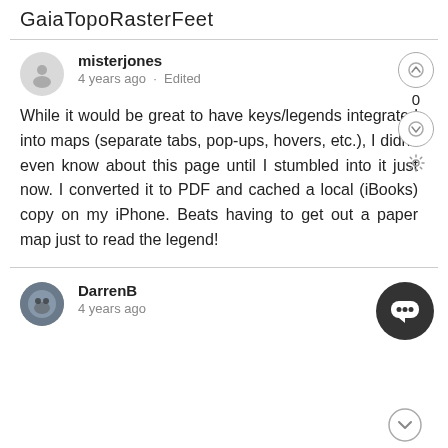GaiaTopoRasterFeet
misterjones
4 years ago · Edited
While it would be great to have keys/legends integrated into maps (separate tabs, pop-ups, hovers, etc.), I didn't even know about this page until I stumbled into it just now. I converted it to PDF and cached a local (iBooks) copy on my iPhone. Beats having to get out a paper map just to read the legend!
DarrenB
4 years ago